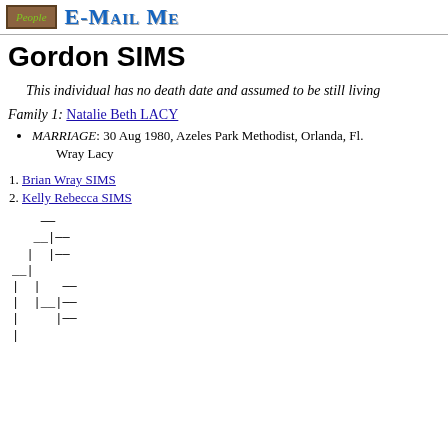People | E-Mail Me
Gordon SIMS
This individual has no death date and assumed to be still living
Family 1: Natalie Beth LACY
MARRIAGE: 30 Aug 1980, Azeles Park Methodist, Orlanda, Fl.
Wray Lacy
1. Brian Wray SIMS
2. Kelly Rebecca SIMS
[Figure (other): Genealogy tree bracket diagram showing family connections using ASCII-art style lines]